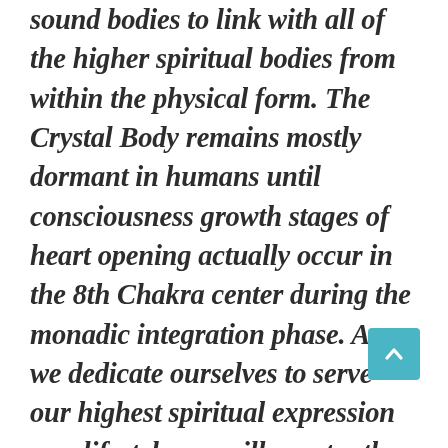sound bodies to link with all of the higher spiritual bodies from within the physical form. The Crystal Body remains mostly dormant in humans until consciousness growth stages of heart opening actually occur in the 8th Chakra center during the monadic integration phase. As we dedicate ourselves to serve our highest spiritual expression as a lifestyle, we will constantly be exposed to a variety of energetic exchanges of higher frequencies and light symbol codes sourcing from our